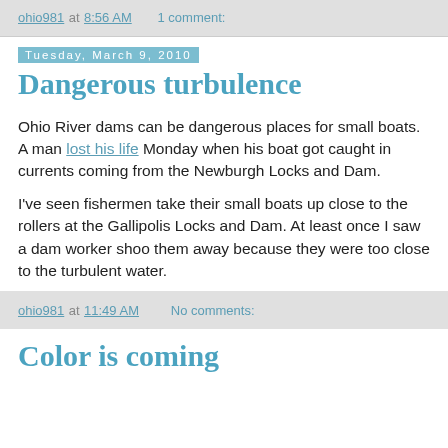ohio981 at 8:56 AM   1 comment:
Tuesday, March 9, 2010
Dangerous turbulence
Ohio River dams can be dangerous places for small boats. A man lost his life Monday when his boat got caught in currents coming from the Newburgh Locks and Dam.
I've seen fishermen take their small boats up close to the rollers at the Gallipolis Locks and Dam. At least once I saw a dam worker shoo them away because they were too close to the turbulent water.
ohio981 at 11:49 AM   No comments:
Color is coming